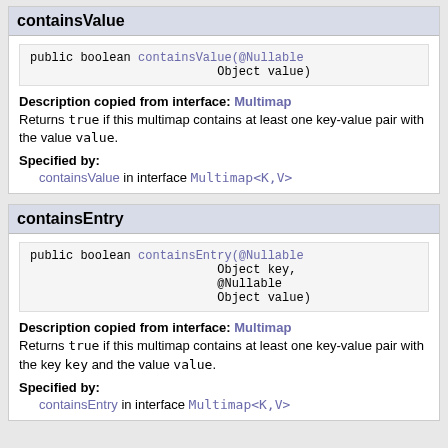containsValue
public boolean containsValue(@Nullable Object value)
Description copied from interface: Multimap
Returns true if this multimap contains at least one key-value pair with the value value.
Specified by:
containsValue in interface Multimap<K,V>
containsEntry
public boolean containsEntry(@Nullable Object key, @Nullable Object value)
Description copied from interface: Multimap
Returns true if this multimap contains at least one key-value pair with the key key and the value value.
Specified by:
containsEntry in interface Multimap<K,V>